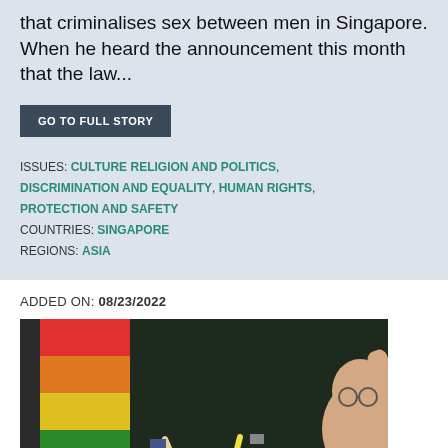that criminalises sex between men in Singapore. When he heard the announcement this month that the law...
GO TO FULL STORY
ISSUES: CULTURE RELIGION AND POLITICS, DISCRIMINATION AND EQUALITY, HUMAN RIGHTS, PROTECTION AND SAFETY
COUNTRIES: SINGAPORE
REGIONS: ASIA
ADDED ON: 08/23/2022
[Figure (photo): Photo showing a crowd of people celebrating indoors with a large rainbow flag/banner visible in the background. A person with glasses is visible on the right side with arm raised.]